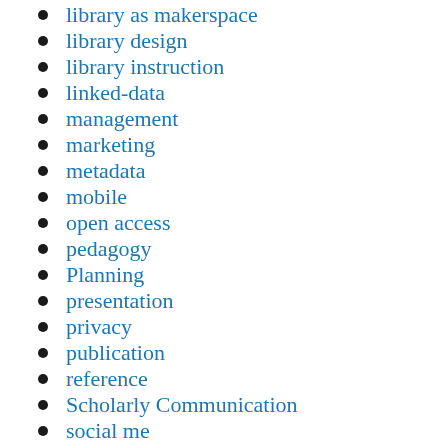library as makerspace
library design
library instruction
linked-data
management
marketing
metadata
mobile
open access
pedagogy
Planning
presentation
privacy
publication
reference
Scholarly Communication
social media (partial)